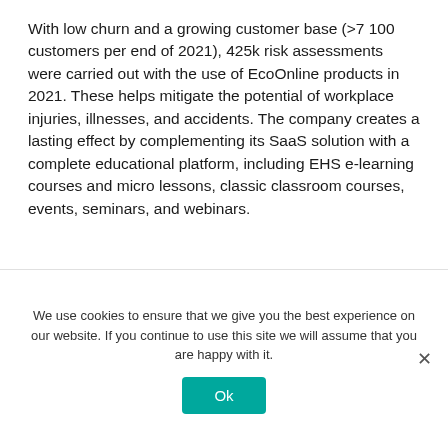With low churn and a growing customer base (>7 100 customers per end of 2021), 425k risk assessments were carried out with the use of EcoOnline products in 2021. These helps mitigate the potential of workplace injuries, illnesses, and accidents. The company creates a lasting effect by complementing its SaaS solution with a complete educational platform, including EHS e-learning courses and micro lessons, classic classroom courses, events, seminars, and webinars.
If EcoOnline didn't exist...
We use cookies to ensure that we give you the best experience on our website. If you continue to use this site we will assume that you are happy with it.